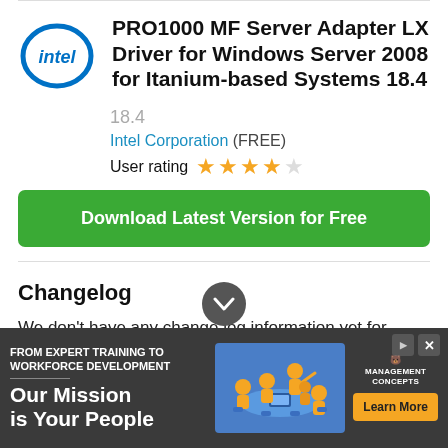PRO1000 MF Server Adapter LX Driver for Windows Server 2008 for Itanium-based Systems 18.4
18.4
Intel Corporation (FREE)
User rating ★★★★☆
Download Latest Version for Free
Changelog
We don't have any change log information yet for version 18.4 of PRO1000 MF Server Adapter LX Driver for
[Figure (infographic): Advertisement banner: 'FROM EXPERT TRAINING TO WORKFORCE DEVELOPMENT / Our Mission is Your People' with illustrated workers around a table and a 'Learn More' button, branded Management Concepts, on a dark gray background.]